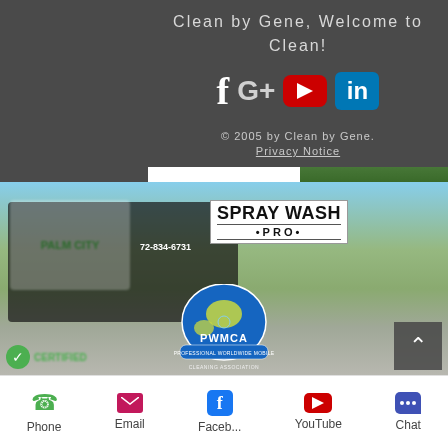Clean by Gene, Welcome to Clean!
[Figure (other): Social media icons: Facebook, Google+, YouTube, LinkedIn]
© 2005 by Clean by Gene.
Privacy Notice
[Figure (photo): Photo of pressure washing truck with Spray Wash Pro logo and PWMCA logo overlay, also shows Palm City branding]
Phone  Email  Faceb...  YouTube  Chat